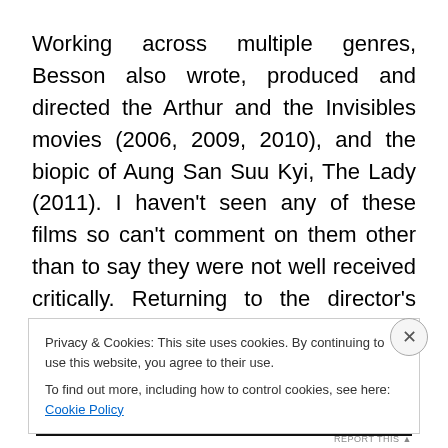Working across multiple genres, Besson also wrote, produced and directed the Arthur and the Invisibles movies (2006, 2009, 2010), and the biopic of Aung San Suu Kyi, The Lady (2011). I haven't seen any of these films so can't comment on them other than to say they were not well received critically. Returning to the director's chair for his next film Lucy, set for release in August (in UK). Starring Scarlett Johansson in the title role it looks
Privacy & Cookies: This site uses cookies. By continuing to use this website, you agree to their use.
To find out more, including how to control cookies, see here: Cookie Policy
Close and accept